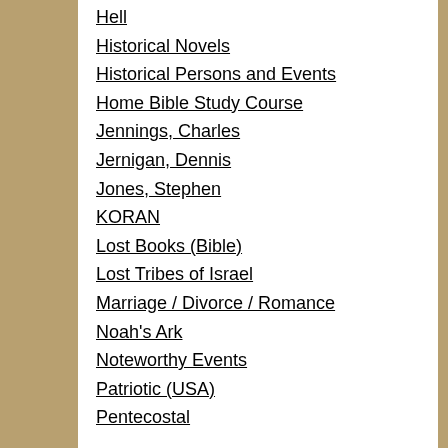Hell
Historical Novels
Historical Persons and Events
Home Bible Study Course
Jennings, Charles
Jernigan, Dennis
Jones, Stephen
KORAN
Lost Books (Bible)
Lost Tribes of Israel
Marriage / Divorce / Romance
Noah's Ark
Noteworthy Events
Patriotic (USA)
Pentecostal